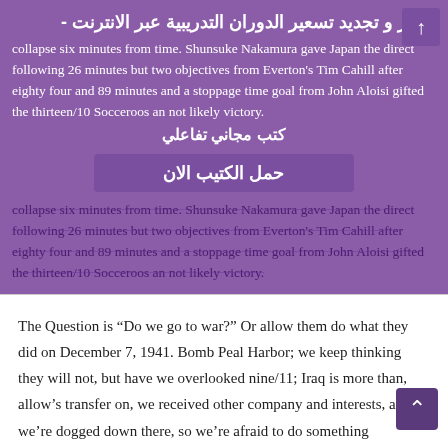collapse six minutes from time. Shunsuke Nakamura gave Japan the direct following 26 minutes but two objectives from Everton's Tim Cahill after eighty four and 89 minutes and a stoppage time goal from John Aloisi gifted the thirteen/10 Socceroos an not likely victory.
اختبار و تجديد تسعير الدوران التدريبية عبر الانترنت - كتب مجاني تفاعلي
حمل الكتيب الان
The Question is "Do we go to war?" Or allow them do what they did on December 7, 1941. Bomb Peal Harbor; we keep thinking they will not, but have we overlooked nine/11; Iraq is more than, allow's transfer on, we received other company and interests, and we're dogged down there, so we're afraid to do something somewhere else. We should readjust our considering to these that can harm us.
With that in thoughts, a serviceman's wages are also increased by other advantages this kind of as training and well being. The army has the Publish nine/11 GI Invoice which is valued at $40,000 a year for 4 many years. There is also Tuition